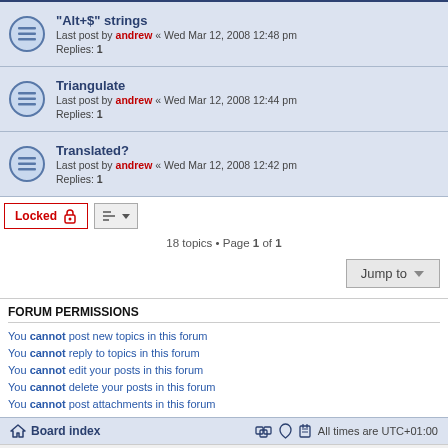"Alt+$" strings — Last post by andrew « Wed Mar 12, 2008 12:48 pm — Replies: 1
Triangulate — Last post by andrew « Wed Mar 12, 2008 12:44 pm — Replies: 1
Translated? — Last post by andrew « Wed Mar 12, 2008 12:42 pm — Replies: 1
18 topics • Page 1 of 1
Jump to
FORUM PERMISSIONS
You cannot post new topics in this forum
You cannot reply to topics in this forum
You cannot edit your posts in this forum
You cannot delete your posts in this forum
You cannot post attachments in this forum
Board index — All times are UTC+01:00
Powered by phpBB® Forum Software © phpBB Limited
Time: 0.227s | Queries: 15 | Peak Memory Usage: 2.56 MiB